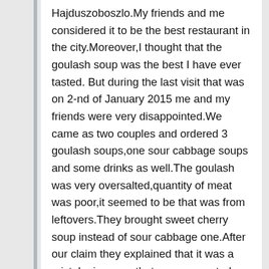Hajduszoboszlo.My friends and me considered it to be the best restaurant in the city.Moreover,I thought that the goulash soup was the best I have ever tasted. But during the last visit that was on 2-nd of January 2015 me and my friends were very disappointed.We came as two couples and ordered 3 goulash soups,one sour cabbage soups and some drinks as well.The goulash was very oversalted,quantity of meat was poor,it seemed to be that was from leftovers.They brought sweet cherry soup instead of sour cabbage one.After our claim they explained that it was a mistake in menu that was connected with bad translation from Hungarian.But it is unreal because "Sour soup " was indicated in English,German and Russian clearly.They did not offer to bring us another soup we